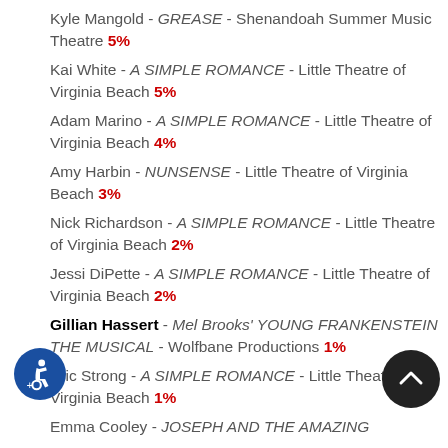Kyle Mangold - GREASE - Shenandoah Summer Music Theatre 5%
Kai White - A SIMPLE ROMANCE - Little Theatre of Virginia Beach 5%
Adam Marino - A SIMPLE ROMANCE - Little Theatre of Virginia Beach 4%
Amy Harbin - NUNSENSE - Little Theatre of Virginia Beach 3%
Nick Richardson - A SIMPLE ROMANCE - Little Theatre of Virginia Beach 2%
Jessi DiPette - A SIMPLE ROMANCE - Little Theatre of Virginia Beach 2%
Gillian Hassert - Mel Brooks' YOUNG FRANKENSTEIN THE MUSICAL - Wolfbane Productions 1%
Eric Strong - A SIMPLE ROMANCE - Little Theatre of Virginia Beach 1%
Emma Cooley - JOSEPH AND THE AMAZING